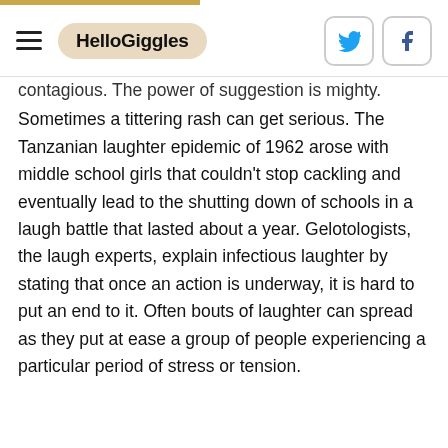HelloGiggles
contagious. The power of suggestion is mighty. Sometimes a tittering rash can get serious. The Tanzanian laughter epidemic of 1962 arose with middle school girls that couldn't stop cackling and eventually lead to the shutting down of schools in a laugh battle that lasted about a year. Gelotologists, the laugh experts, explain infectious laughter by stating that once an action is underway, it is hard to put an end to it. Often bouts of laughter can spread as they put at ease a group of people experiencing a particular period of stress or tension.